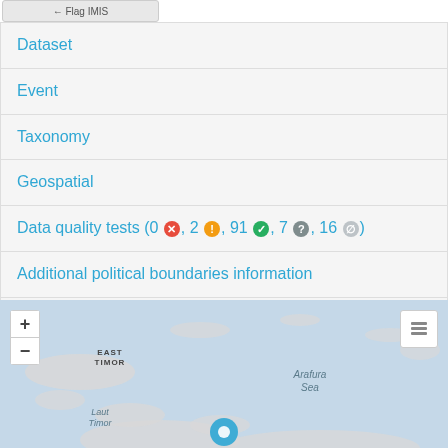Dataset
Event
Taxonomy
Geospatial
Data quality tests (0 ✗, 2 !, 91 ✓, 7 ?, 16 ∅)
Additional political boundaries information
Environmental sampling for this location
[Figure (map): Interactive map showing East Timor region, Arafura Sea, Laut Timor labels, with a blue location pin marker and zoom controls]